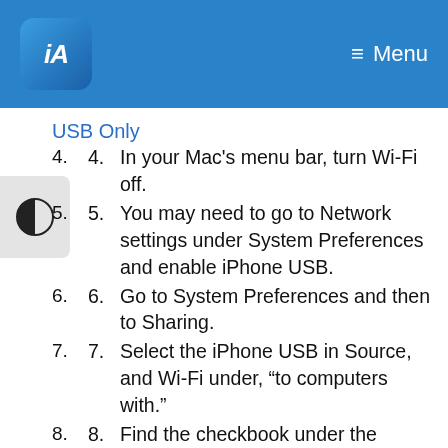iA Writer — Menu
USB Only
4. In your Mac's menu bar, turn Wi-Fi off.
5. You may need to go to Network settings under System Preferences and enable iPhone USB.
6. Go to System Preferences and then to Sharing.
7. Select the iPhone USB in Source, and Wi-Fi under, “to computers with.”
8. Find the checkbook under the sharing table and check share Internet connection to start the connection.
9. You can now connect to your Mac with your iPhone over Wi-Fi and it will think it is getting Internet from your Mac.